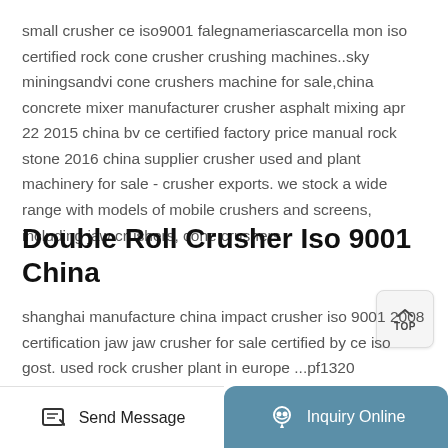small crusher ce iso9001 falegnameriascarcella mon iso certified rock cone crusher crushing machines..sky miningsandvi cone crushers machine for sale,china concrete mixer manufacturer crusher asphalt mixing apr 22 2015 china bv ce certified factory price manual rock stone 2016 china supplier crusher used and plant machinery for sale - crusher exports. we stock a wide range with models of mobile crushers and screens, including jaw crushers, cone crushers
Double Roll Crusher Iso 9001 China
shanghai manufacture china impact crusher iso 9001 2008 certification jaw jaw crusher for sale certified by ce iso gost. used rock crusher plant in europe ...pf1320
Send Message | Inquiry Online